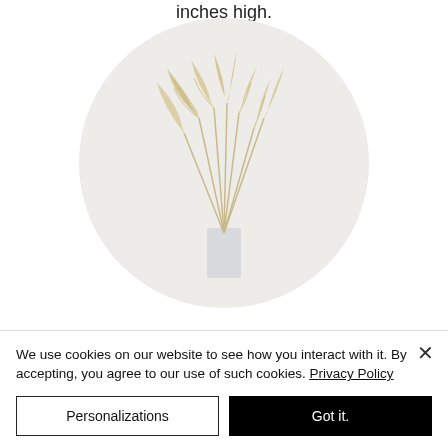inches high.
[Figure (photo): A circular cropped photo of a minimalist vase with dried pampas grass on a white background]
We use cookies on our website to see how you interact with it. By accepting, you agree to our use of such cookies. Privacy Policy
Personalizations
Got it.